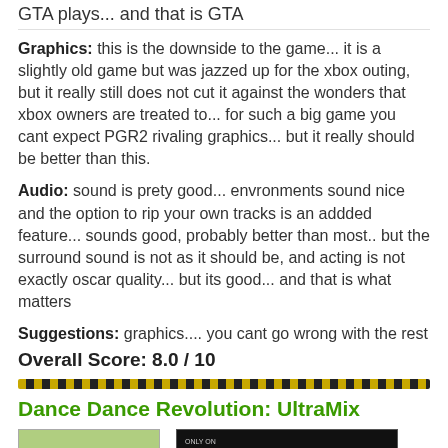GTA plays... and that is GTA
Graphics: this is the downside to the game... it is a slightly old game but was jazzed up for the xbox outing, but it really still does not cut it against the wonders that xbox owners are treated to... for such a big game you cant expect PGR2 rivaling graphics... but it really should be better than this.
Audio: sound is prety good... envronments sound nice and the option to rip your own tracks is an addded feature... sounds good, probably better than most.. but the surround sound is not as it should be, and acting is not exactly oscar quality... but its good... and that is what matters
Suggestions: graphics.... you cant go wrong with the rest
Overall Score: 8.0 / 10
Dance Dance Revolution: UltraMix
[Figure (photo): Two images side by side: a green/nature game cover on the left, and an Xbox branded dark image on the right with 'Only On' text]